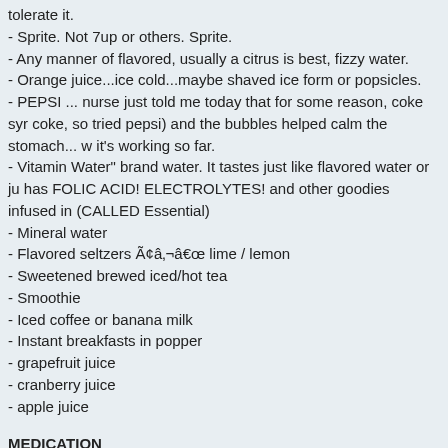tolerate it.
- Sprite. Not 7up or others. Sprite.
- Any manner of flavored, usually a citrus is best, fizzy water.
- Orange juice...ice cold...maybe shaved ice form or popsicles.
- PEPSI ... nurse just told me today that for some reason, coke syr coke, so tried pepsi) and the bubbles helped calm the stomach... w it's working so far.
- Vitamin Water" brand water. It tastes just like flavored water or ju has FOLIC ACID! ELECTROLYTES! and other goodies infused in (CALLED Essential)
- Mineral water
- Flavored seltzers Ã¢â‚¬â€œ lime / lemon
- Sweetened brewed iced/hot tea
- Smoothie
- Iced coffee or banana milk
- Instant breakfasts in popper
- grapefruit juice
- cranberry juice
- apple juice
MEDICATION
Want Perinatologist (high risk obstetrician)
General comments